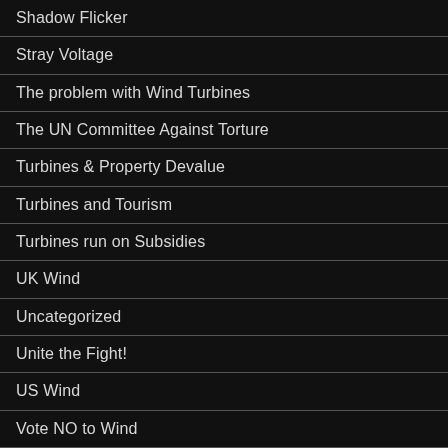Shadow Flicker
Stray Voltage
The problem with Wind Turbines
The UN Committee Against Torture
Turbines & Property Devalue
Turbines and Tourism
Turbines run on Subsidies
UK Wind
Uncategorized
Unite the Fight!
US Wind
Vote NO to Wind